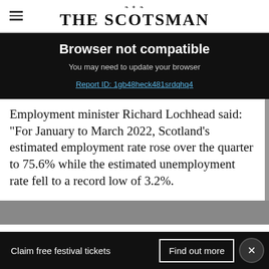THE SCOTSMAN
Browser not compatible
You may need to update your browser
Report ID: 1gb48heck481srdqhq4
Employment minister Richard Lochhead said: “For January to March 2022, Scotland’s estimated employment rate rose over the quarter to 75.6% while the estimated unemployment rate fell to a record low of 3.2%.
Claim free festival tickets  Find out more